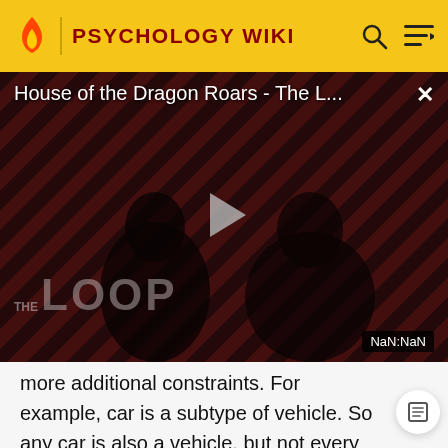PSYCHOLOGY WIKI
[Figure (screenshot): Video player showing 'House of the Dragon Roars - The L...' with diagonal red and dark stripe background, silhouettes of people, play button in center, 'THE LOOP' text overlay, and 'NaN:NaN' timestamp badge in bottom right corner.]
more additional constraints. For example, car is a subtype of vehicle. So any car is also a vehicle, but not every vehicle is a car. So, a thing needs to satisfy more constraints to be a car than to be a vehicle.